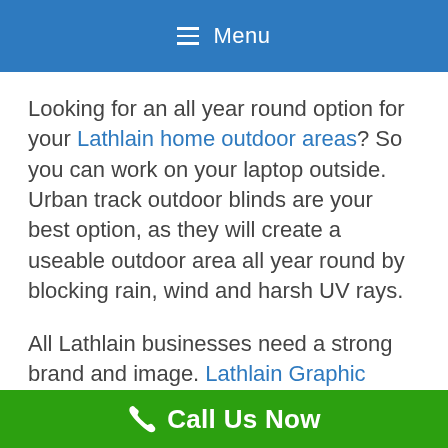Menu
Looking for an all year round option for your Lathlain home outdoor areas? So you can work on your laptop outside. Urban track outdoor blinds are your best option, as they will create a useable outdoor area all year round by blocking rain, wind and harsh UV rays.
All Lathlain businesses need a strong brand and image. Lathlain Graphic Design Studio will get your businesses brand sorted from start to finish with packages available for all type and sizes of businesses.
Call Us Now